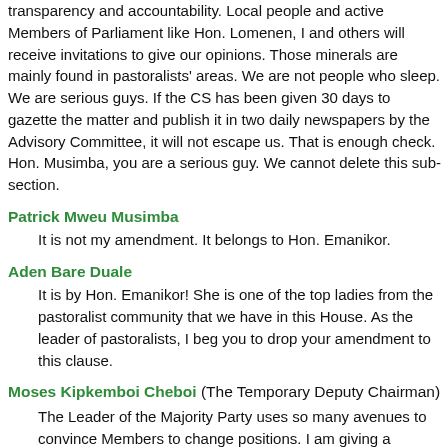transparency and accountability. Local people and active Members of Parliament like Hon. Lomenen, I and others will receive invitations to give our opinions. Those minerals are mainly found in pastoralists' areas. We are not people who sleep. We are serious guys. If the CS has been given 30 days to gazette the matter and publish it in two daily newspapers by the Advisory Committee, it will not escape us. That is enough check. Hon. Musimba, you are a serious guy. We cannot delete this sub-section.
Patrick Mweu Musimba
It is not my amendment. It belongs to Hon. Emanikor.
Aden Bare Duale
It is by Hon. Emanikor! She is one of the top ladies from the pastoralist community that we have in this House. As the leader of pastoralists, I beg you to drop your amendment to this clause.
Moses Kipkemboi Cheboi (The Temporary Deputy Chairman)
The Leader of the Majority Party uses so many avenues to convince Members to change positions. I am giving a chance to Hon. Wamalwa. It is not as per the Standing Orders, but in his own right. I have not been informed that he is standing in for the